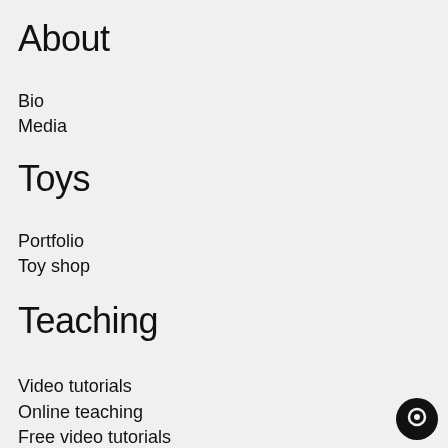About
Bio
Media
Toys
Portfolio
Toy shop
Teaching
Video tutorials
Online teaching
Free video tutorials
Student work